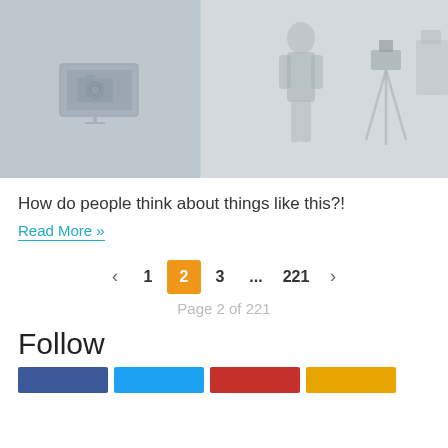[Figure (photo): A split photo banner showing a camera/photography studio on the left and a person standing near a video tripod/camera on the right, both in muted gray tones.]
How do people think about things like this?!
Read More »
‹  1  2  3  ...  221  ›
Page 2 of 221
Follow